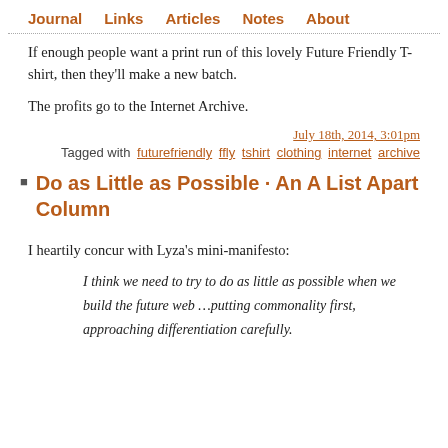Journal   Links   Articles   Notes   About
If enough people want a print run of this lovely Future Friendly T-shirt, then they'll make a new batch.
The profits go to the Internet Archive.
July 18th, 2014, 3:01pm
Tagged with futurefriendly ffly tshirt clothing internet archive
Do as Little as Possible · An A List Apart Column
I heartily concur with Lyza's mini-manifesto:
I think we need to try to do as little as possible when we build the future web …putting commonality first, approaching differentiation carefully.